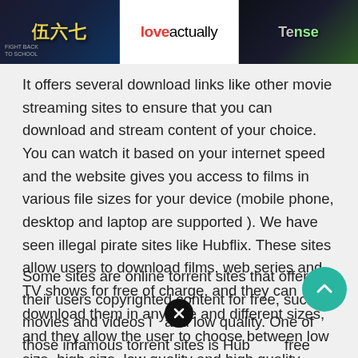[Figure (photo): Banner with three movie/show poster thumbnails: a Chinese-text action movie poster on the left with yellow text, 'love actually' movie title in center on white background with red 'love' text, and 'Tense' show poster on the right with dark/green tones]
It offers several download links like other movie streaming sites to ensure that you can download and stream content of your choice. You can watch it based on your internet speed and the website gives you access to films in various file sizes for your device (mobile phone, desktop and laptop are supported ). We have seen illegal pirate sites like Hubflix. These sites allow users to download films, web series and TV shows for free of charge, and they can download them in any size and different sizes, and they allow the user to choose between low size, high size, low quality and high quality.
Some sites are online torrent sites that offer their users copyrighted content for free, such as movies and videos in and low quality. One of those infamous torrent sites is Hubflix a free streaming and download to nt site that hosts content without copyright permission. Hubflix is an illegal torrent